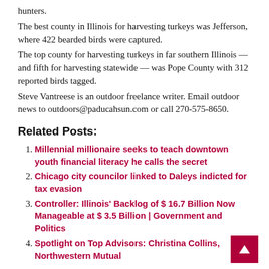hunters.
The best county in Illinois for harvesting turkeys was Jefferson, where 422 bearded birds were captured.
The top county for harvesting turkeys in far southern Illinois — and fifth for harvesting statewide — was Pope County with 312 reported birds tagged.
Steve Vantreese is an outdoor freelance writer. Email outdoor news to outdoors@paducahsun.com or call 270-575-8650.
Related Posts:
Millennial millionaire seeks to teach downtown youth financial literacy he calls the secret
Chicago city councilor linked to Daleys indicted for tax evasion
Controller: Illinois' Backlog of $ 16.7 Billion Now Manageable at $ 3.5 Billion | Government and Politics
Spotlight on Top Advisors: Christina Collins, Northwestern Mutual